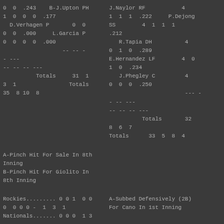0  0  .243    B-J.Upton PH
1  0  0  0  .177
  D.Verhagen P       0  0
0  0  .000     L.Garcia P
0  0  0  0  .000
                  -- -- -
- ---
-- -- -- ---
          Totals     31  1
3  1                Totals
35  8 10  8
J.Naylor RF           4
1  1  1  .222     P.Dejong
SS        4  1  1  1
.212
   R.Tapia DH          4
0  1  0  .289
E.Hernandez LF        4  0
1  0  .234
   J.Phegley C         4
0  0  0  .250
                       --- -
- -- ---
-- -- -- ---
          Totals       32
8  6  7
Totals      33  5  8  4
A-Pinch Hit For Sale In 8th
Inning
B-Pinch Hit For Giolito In
8th Inning
Rockies......... 0 0 1  0 0
0  0 0 0 -  1  3  1
Nationals....... 0 0 0  1 3
A-Subbed Defensively (2B)
For Cano In 1st Inning